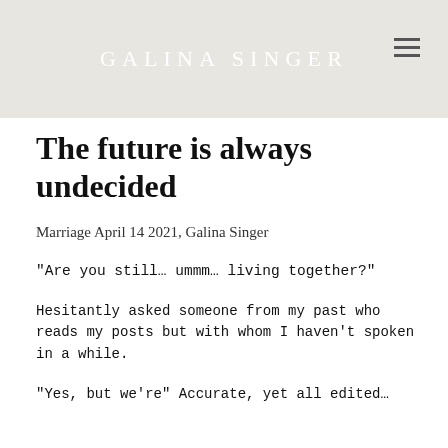GALINA SINGER
The future is always undecided
Marriage April 14 2021, Galina Singer
“Are you still… ummm… living together?”
Hesitantly asked someone from my past who reads my posts but with whom I haven’t spoken in a while.
“Yes, but we’re” Accurate, yet all edited…